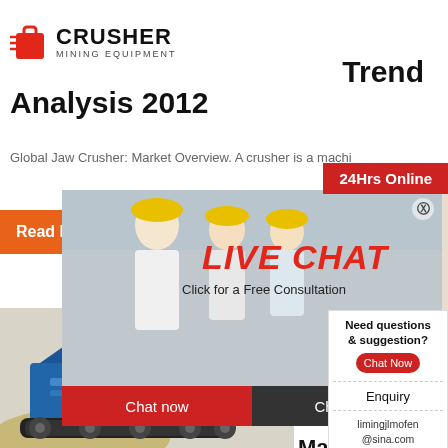[Figure (logo): CRUSHER Mining Equipment logo with red bag icon]
Trend Analysis 2012
Global Jaw Crusher: Market Overview. A crusher is a machi...
[Figure (infographic): Live chat popup overlay with workers in hard hats, LIVE CHAT text, Click for a Free Consultation, Chat now and Chat later buttons, 24Hrs Online banner]
[Figure (photo): Blue mobile jaw crusher machine on construction site]
Your C... Sheet... Findin... Marke... Crush...
[Figure (infographic): Right sidebar popup: Need questions & suggestion? Chat Now button, Enquiry, limingjlmofen@sina.com]